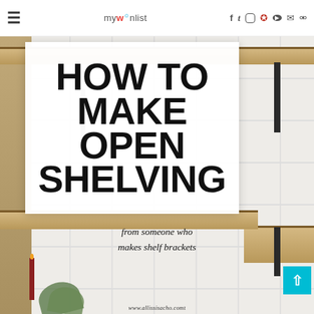mywishlist — navigation header with social icons
[Figure (photo): Kitchen open shelving photo with wooden shelves against white tile backsplash, black metal brackets, with decorative overlay text box reading HOW TO MAKE OPEN SHELVING]
HOW TO MAKE OPEN SHELVING
from someone who makes shelf brackets
www.allissisacho.comt